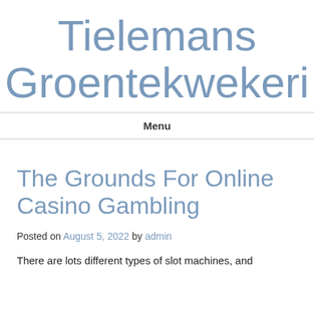Tielemans Groentekwekeri
Menu
The Grounds For Online Casino Gambling
Posted on August 5, 2022 by admin
There are lots different types of slot machines, and